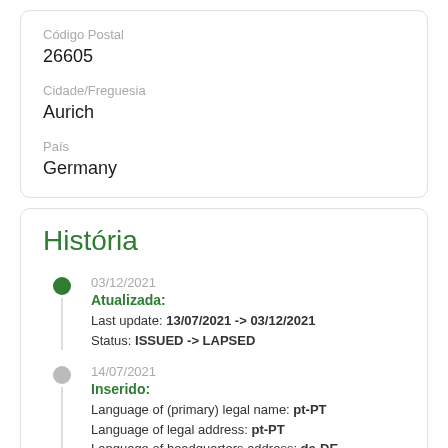Código Postal
26605
Cidade/Freguesia
Aurich
País
Germany
História
03/12/2021
Atualizada:
Last update: 13/07/2021 -> 03/12/2021
Status: ISSUED -> LAPSED
14/07/2021
Inserido:
Language of (primary) legal name: pt-PT
Language of legal address: pt-PT
Language of headquarters address: de-DE